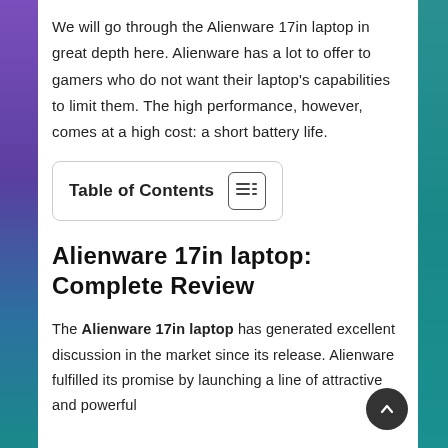We will go through the Alienware 17in laptop in great depth here. Alienware has a lot to offer to gamers who do not want their laptop's capabilities to limit them. The high performance, however, comes at a high cost: a short battery life.
Table of Contents
Alienware 17in laptop: Complete Review
The Alienware 17in laptop has generated excellent discussion in the market since its release. Alienware fulfilled its promise by launching a line of attractive and powerful